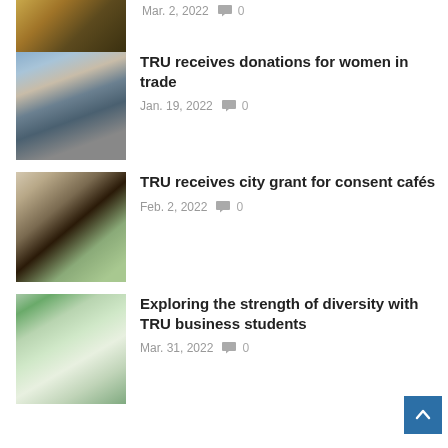[Figure (photo): Partial view of a photo at the top of the page, partially cropped]
Mar. 2, 2022  0
[Figure (photo): Woman wearing a mask working in a woodworking/trades environment]
TRU receives donations for women in trade
Jan. 19, 2022  0
[Figure (photo): Indoor event setup with plants and signs on a table]
TRU receives city grant for consent cafés
Feb. 2, 2022  0
[Figure (photo): Outdoor building with trees, diversity-themed setting]
Exploring the strength of diversity with TRU business students
Mar. 31, 2022  0